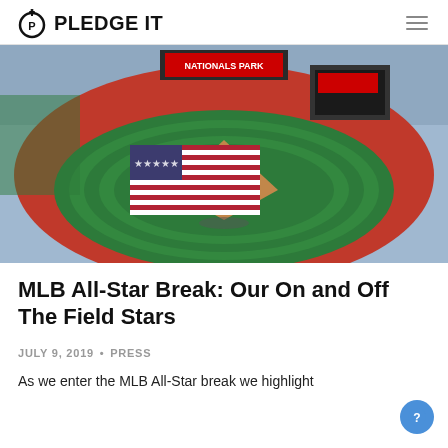PLEDGE IT
[Figure (photo): Aerial view of Nationals Park baseball stadium packed with fans, with a large American flag spread across the outfield during a pre-game ceremony.]
MLB All-Star Break: Our On and Off The Field Stars
JULY 9, 2019 • PRESS
As we enter the MLB All-Star break we highlight